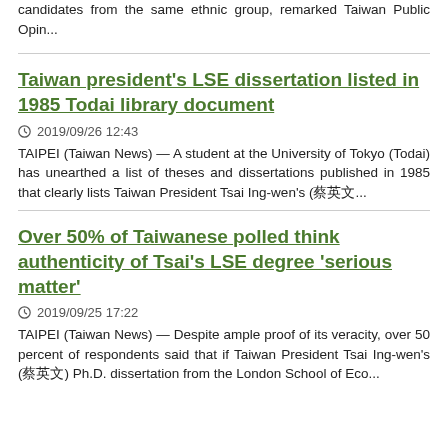candidates from the same ethnic group, remarked Taiwan Public Opin...
Taiwan president's LSE dissertation listed in 1985 Todai library document
2019/09/26 12:43
TAIPEI (Taiwan News) — A student at the University of Tokyo (Todai) has unearthed a list of theses and dissertations published in 1985 that clearly lists Taiwan President Tsai Ing-wen's (蔡英文...
Over 50% of Taiwanese polled think authenticity of Tsai's LSE degree 'serious matter'
2019/09/25 17:22
TAIPEI (Taiwan News) — Despite ample proof of its veracity, over 50 percent of respondents said that if Taiwan President Tsai Ing-wen's (蔡英文) Ph.D. dissertation from the London School of Eco...